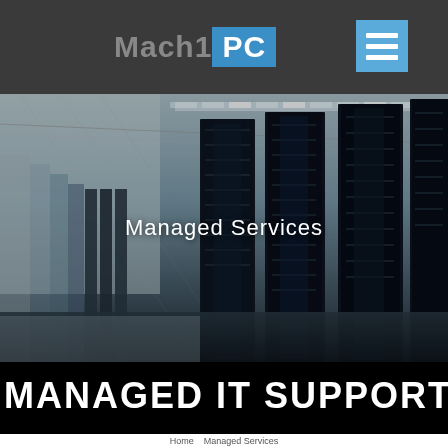Mach1PC
[Figure (photo): Server room with rows of black server racks in a data center, dark blue-grey tone, overhead lighting with grid ceiling.]
Managed Services
MANAGED IT SUPPORT